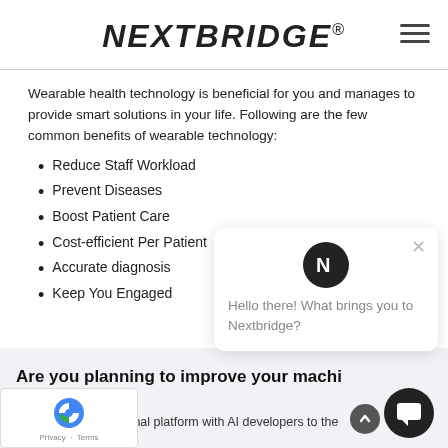NEXTBRIDGE®
Wearable health technology is beneficial for you and manages to provide smart solutions in your life. Following are the few common benefits of wearable technology:
Reduce Staff Workload
Prevent Diseases
Boost Patient Care
Cost-efficient Per Patient
Accurate diagnosis
Keep You Engaged
[Figure (screenshot): Chat widget popup with Nextbridge logo icon and message: Hello there! What brings you to Nextbridge?]
Are you planning to improve your machine learning workflow?
vteams is a professional platform with AI developers to the